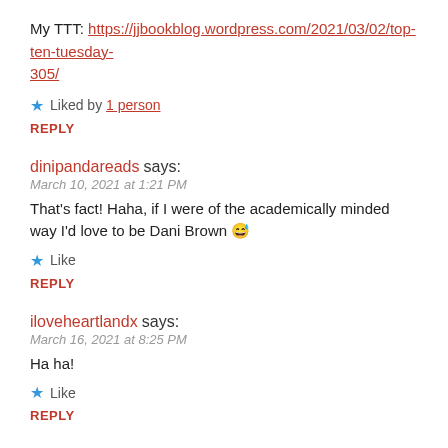My TTT: https://jjbookblog.wordpress.com/2021/03/02/top-ten-tuesday-305/
★ Liked by 1 person
REPLY
dinipandareads says:
March 10, 2021 at 1:21 PM
That's fact! Haha, if I were of the academically minded way I'd love to be Dani Brown 😅
★ Like
REPLY
iloveheartlandx says:
March 16, 2021 at 8:25 PM
Ha ha!
★ Like
REPLY